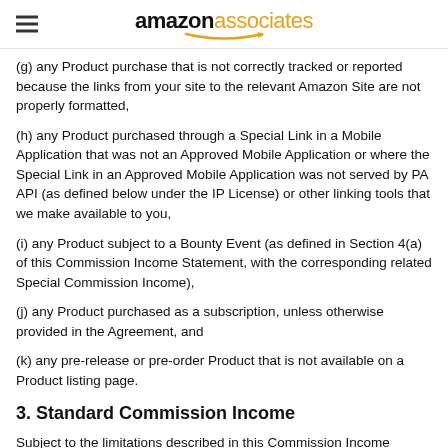amazon associates
(g) any Product purchase that is not correctly tracked or reported because the links from your site to the relevant Amazon Site are not properly formatted,
(h) any Product purchased through a Special Link in a Mobile Application that was not an Approved Mobile Application or where the Special Link in an Approved Mobile Application was not served by PA API (as defined below under the IP License) or other linking tools that we make available to you,
(i) any Product subject to a Bounty Event (as defined in Section 4(a) of this Commission Income Statement, with the corresponding related Special Commission Income),
(j) any Product purchased as a subscription, unless otherwise provided in the Agreement, and
(k) any pre-release or pre-order Product that is not available on a Product listing page.
3. Standard Commission Income
Subject to the limitations described in this Commission Income Statement and compliance with the Agreement, we will pay you standard commission income described